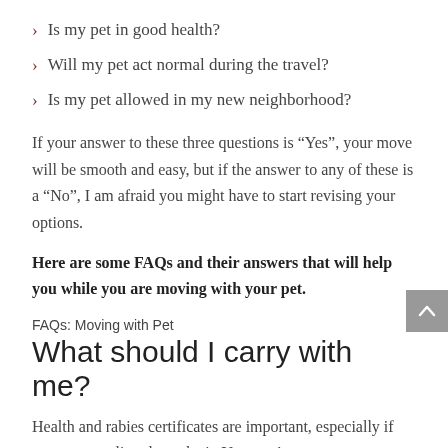Is my pet in good health?
Will my pet act normal during the travel?
Is my pet allowed in my new neighborhood?
If your answer to these three questions is “Yes”, your move will be smooth and easy, but if the answer to any of these is a “No”, I am afraid you might have to start revising your options.
Here are some FAQs and their answers that will help you while you are moving with your pet.
FAQs: Moving with Pet
What should I carry with me?
Health and rabies certificates are important, especially if you are traveling through air. Your pet’s